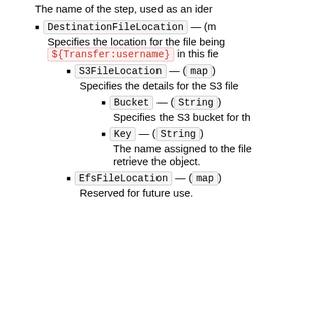The name of the step, used as an identifier.
DestinationFileLocation — (map)
Specifies the location for the file being transferred. Use ${Transfer:username} in this field.
S3FileLocation — (map)
Specifies the details for the S3 file location.
Bucket — (String)
Specifies the S3 bucket for the file.
Key — (String)
The name assigned to the file when it was created in S3. You use the object key to retrieve the object.
EfsFileLocation — (map)
Reserved for future use.